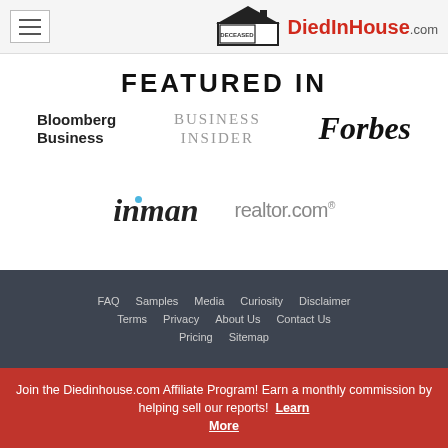DiedInHouse.com - Navigation header with hamburger menu and logo
FEATURED IN
[Figure (logo): Bloomberg Business logo]
[Figure (logo): Business Insider logo]
[Figure (logo): Forbes logo]
[Figure (logo): Inman logo]
[Figure (logo): realtor.com logo]
FAQ  Samples  Media  Curiosity  Disclaimer  Terms  Privacy  About Us  Contact Us  Pricing  Sitemap
Join the Diedinhouse.com Affiliate Program! Earn a monthly commission by helping sell our reports! Learn More